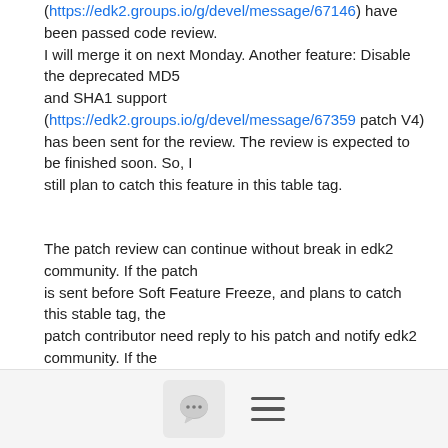(https://edk2.groups.io/g/devel/message/67146) have been passed code review. I will merge it on next Monday. Another feature: Disable the deprecated MD5 and SHA1 support (https://edk2.groups.io/g/devel/message/67359 patch V4) has been sent for the review. The review is expected to be finished soon. So, I still plan to catch this feature in this table tag.
The patch review can continue without break in edk2 community. If the patch is sent before Soft Feature Freeze, and plans to catch this stable tag, the patch contributor need reply to his patch and notify edk2 community. If the patch is sent after Soft Feature Freeze, and plans to catch this
[Figure (other): Bottom navigation bar with a chat/comment button icon and a hamburger menu icon]